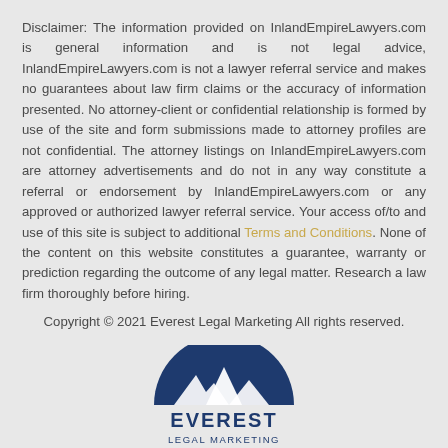Disclaimer: The information provided on InlandEmpireLawyers.com is general information and is not legal advice, InlandEmpireLawyers.com is not a lawyer referral service and makes no guarantees about law firm claims or the accuracy of information presented. No attorney-client or confidential relationship is formed by use of the site and form submissions made to attorney profiles are not confidential. The attorney listings on InlandEmpireLawyers.com are attorney advertisements and do not in any way constitute a referral or endorsement by InlandEmpireLawyers.com or any approved or authorized lawyer referral service. Your access of/to and use of this site is subject to additional Terms and Conditions. None of the content on this website constitutes a guarantee, warranty or prediction regarding the outcome of any legal matter. Research a law firm thoroughly before hiring.
Copyright © 2021 Everest Legal Marketing All rights reserved.
[Figure (logo): Everest Legal Marketing logo — dark blue semicircle with mountain peaks silhouette above text EVEREST LEGAL MARKETING]